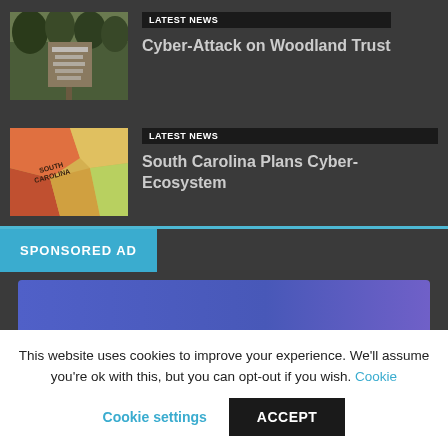[Figure (photo): Woodland Trust sign photo (green woodland scene with sign)]
LATEST NEWS
Cyber-Attack on Woodland Trust
[Figure (photo): Map of South Carolina (colorful regional map)]
LATEST NEWS
South Carolina Plans Cyber-Ecosystem
SPONSORED AD
[Figure (other): Sponsored advertisement banner with blue-purple gradient]
This website uses cookies to improve your experience. We'll assume you're ok with this, but you can opt-out if you wish. Cookie settings ACCEPT